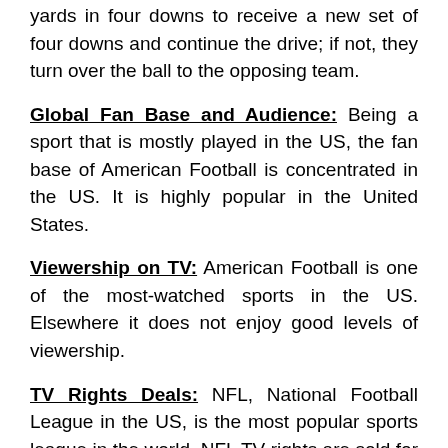yards in four downs to receive a new set of four downs and continue the drive; if not, they turn over the ball to the opposing team.
Global Fan Base and Audience: Being a sport that is mostly played in the US, the fan base of American Football is concentrated in the US. It is highly popular in the United States.
Viewership on TV: American Football is one of the most-watched sports in the US. Elsewhere it does not enjoy good levels of viewership.
TV Rights Deals: NFL, National Football League in the US, is the most popular sports league in the world. NFL TV rights are sold for billions of dollars per year.
Popularity on the Internet: NFL is quite